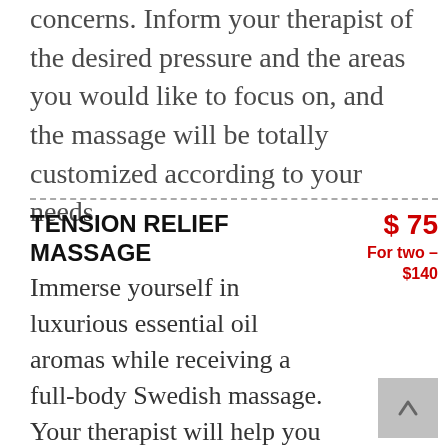concerns. Inform your therapist of the desired pressure and the areas you would like to focus on, and the massage will be totally customized according to your needs.
TENSION RELIEF MASSAGE
$ 75
For two – $140
Immerse yourself in luxurious essential oil aromas while receiving a full-body Swedish massage. Your therapist will help you select the ideal essential oil to erase tension and meet your specific therapeutic and relaxation needs. Gentle, soothing techniques, organic